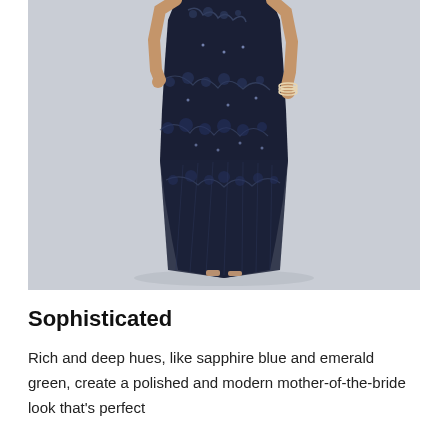[Figure (photo): A woman wearing a long navy blue floral embroidered and sequined evening gown, shown from mid-torso to floor, with strappy heeled sandals, against a light grey background.]
Sophisticated
Rich and deep hues, like sapphire blue and emerald green, create a polished and modern mother-of-the-bride look that's perfect